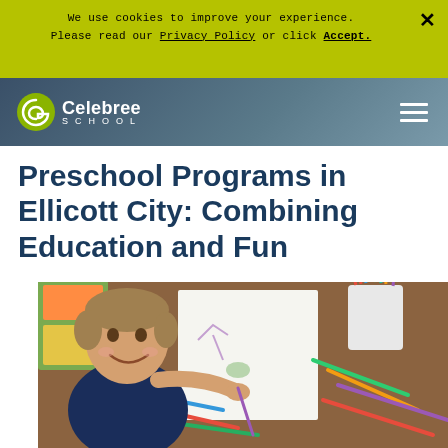We use cookies to improve your experience. Please read our Privacy Policy or click Accept.
Celebree School
Preschool Programs in Ellicott City: Combining Education and Fun
[Figure (photo): A young smiling boy drawing or coloring at a table, viewed from above, with colorful pencils/markers in a cup and scattered on the table beside a white paper]